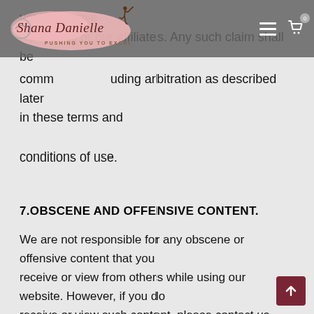Shana Danielle — PUSHING YOU TO EXCEL (navigation bar with logo)
you may have against us or our affiliates. Any such claim shall be commenced including arbitration as described later in these terms and conditions of use.
7.OBSCENE AND OFFENSIVE CONTENT.
We are not responsible for any obscene or offensive content that you receive or view from others while using our website. However, if you do receive or view such content, please contact us by e-mail so that we can investigate the matter. Although we are not